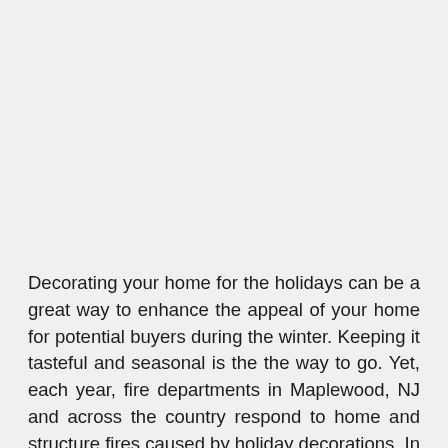Decorating your home for the holidays can be a great way to enhance the appeal of your home for potential buyers during the winter. Keeping it tasteful and seasonal is the the way to go. Yet, each year, fire departments in Maplewood, NJ and across the country respond to home and structure fires caused by holiday decorations. In a study by the National Fire Protection Association (NFPA) in 2011 showed an annual average